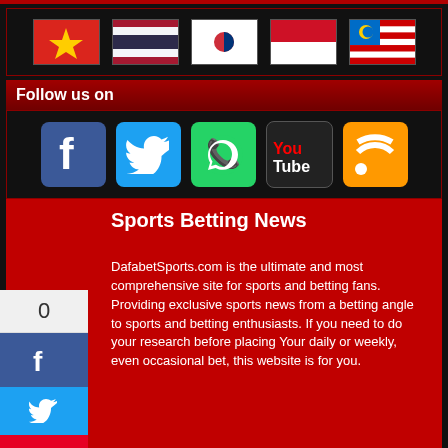[Figure (other): Row of 5 country flags: Vietnam, Thailand, South Korea, Indonesia, Malaysia]
Follow us on
[Figure (other): Social media icons row: Facebook, Twitter, WhatsApp, YouTube, RSS]
Sports Betting News
DafabetSports.com is the ultimate and most comprehensive site for sports and betting fans. Providing exclusive sports news from a betting angle to sports and betting enthusiasts. If you need to do your research before placing Your daily or weekly, even occasional bet, this website is for you.
From Premier League, Champions League, FA Cup, Carling Cup, La Liga, Serie A and many more, other sports includes Basketball particularly NBA, major Tennis tournaments, previews for F1 fans, horse racing you name it we have it.
More from Dafabet
Sports
Casino
Sports Betting
Online Casino